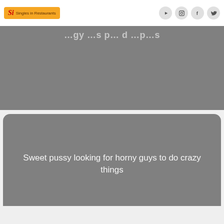Singles in Restaurants — social media nav bar
[Figure (screenshot): Partially visible grey image card with faint white heading text at top]
[Figure (screenshot): Grey rounded card with white text: Sweet pussy looking for horny guys to do crazy things]